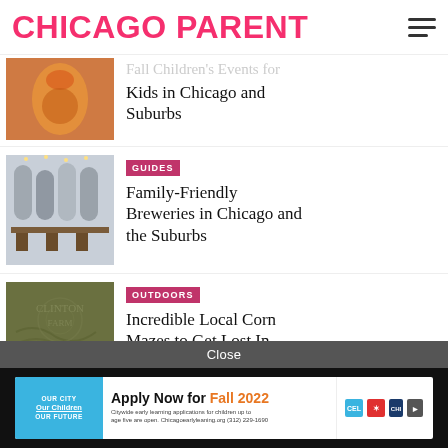CHICAGO PARENT
Kids in Chicago and Suburbs
GUIDES
Family-Friendly Breweries in Chicago and the Suburbs
OUTDOORS
Incredible Local Corn Mazes to Get Lost In
Close
[Figure (photo): Advertisement banner: Apply Now for Fall 2022. Chicago Early Learning citywide applications.]